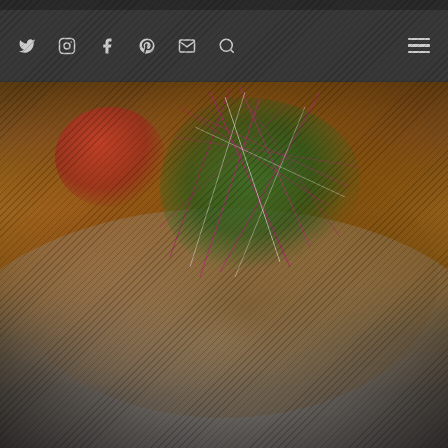Website navigation bar with social icons: Twitter, Instagram, Facebook, Pinterest, Email, Search, and hamburger menu
[Figure (photo): Close-up food photography of a gourmet dish on a white plate, showing what appears to be a curry or sauce-based dish topped with fresh green microgreens and purple/magenta herb strands, with a red tomato element visible. The image is partially visible and cropped, showing mostly the top-right portion of the plated dish. The overall image has a dark, moody tone with the restaurant-style plating visible.]